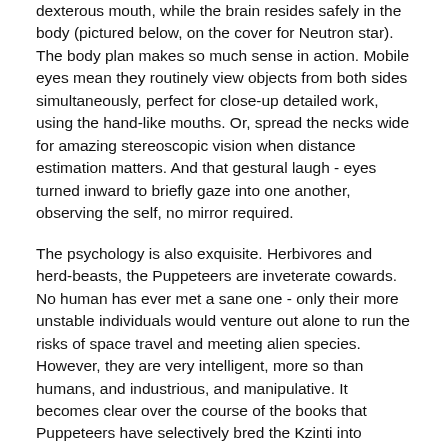dexterous mouth, while the brain resides safely in the body (pictured below, on the cover for Neutron star). The body plan makes so much sense in action. Mobile eyes mean they routinely view objects from both sides simultaneously, perfect for close-up detailed work, using the hand-like mouths. Or, spread the necks wide for amazing stereoscopic vision when distance estimation matters. And that gestural laugh - eyes turned inward to briefly gaze into one another, observing the self, no mirror required.
The psychology is also exquisite. Herbivores and herd-beasts, the Puppeteers are inveterate cowards. No human has ever met a sane one - only their more unstable individuals would venture out alone to run the risks of space travel and meeting alien species. However, they are very intelligent, more so than humans, and industrious, and manipulative. It becomes clear over the course of the books that Puppeteers have selectively bred the Kzinti into constructive docility by engineering the many human-kzin wars, and their plans for everyone else are scarcely less devious.
Finally, my personal favorite was always the Pak. As alien as could be, and yet they are us. On humanity's original homeworld, long before introduction to planet Earth, a symbiotic plant grows which young humans find uninteresting, but in middle-age they develop a compulsion to binge on it. It activates genes that provoke startling